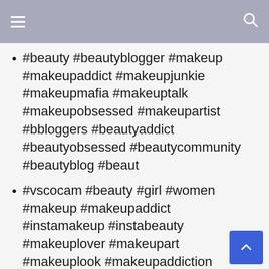#beauty #beautyblogger #makeup #makeupaddict #makeupjunkie #makeupmafia #makeuptalk #makeupobsessed #makeupartist #bbloggers #beautyaddict #beautyobsessed #beautycommunity #beautyblog #beaut
#vscocam #beauty #girl #women #makeup #makeupaddict #instamakeup #instabeauty #makeuplover #makeupart #makeuplook #makeupaddiction